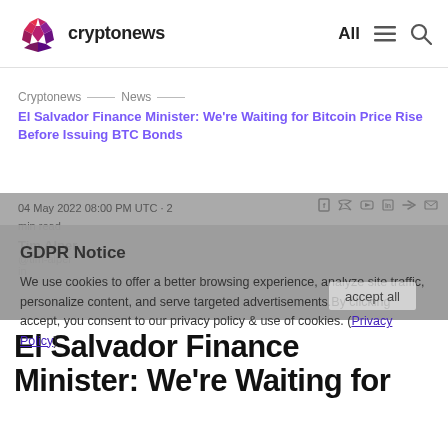cryptonews — All
Cryptonews — News
El Salvador Finance Minister: We're Waiting for Bitcoin Price Rise Before Issuing BTC Bonds
04 May 2022 08:00 PM UTC · 2 min read
Tim Alper
@tim-alper
in
GDPR Notice
We use cookies to offer a better browsing experience, analyze site traffic, personalize content, and serve targeted advertisements.By clicking accept, you consent to our privacy policy & use of cookies. (Privacy Policy)
Accept all
El Salvador Finance Minister: We're Waiting for